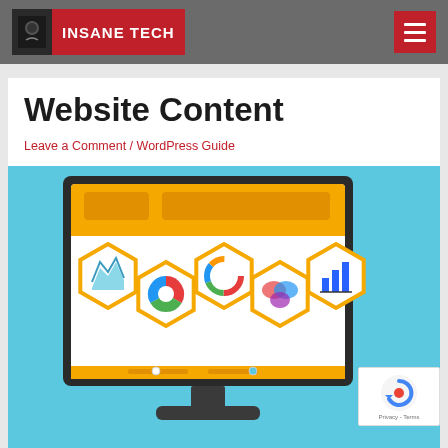INSANE TECH
Website Content
Leave a Comment / WordPress Guide
[Figure (illustration): Illustration of a desktop computer monitor displaying a website interface with hexagonal icons containing charts and graphs, on a light blue background. Below the monitor is a computer stand/base.]